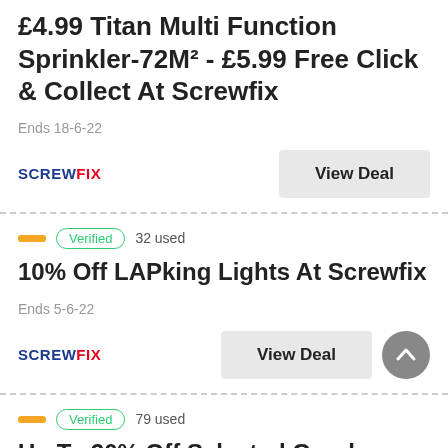£4.99 Titan Multi Function Sprinkler-72M² - £5.99 Free Click & Collect At Screwfix
Ends 18-6-22
View Deal
Verified  32 used
10% Off LAPking Lights At Screwfix
Ends 5-6-22
View Deal
Verified  79 used
Up To 20% Off Selected Goods